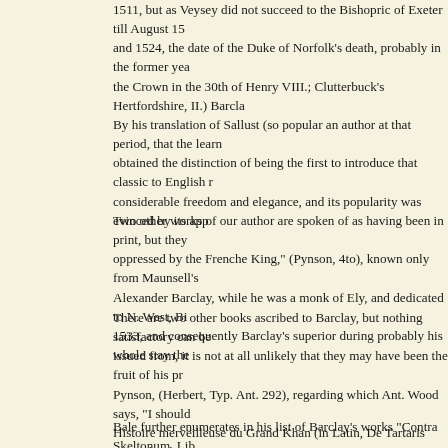1511, but as Veysey did not succeed to the Bishopric of Exeter till August 15 and 1524, the date of the Duke of Norfolk's death, probably in the former yea the Crown in the 30th of Henry VIII.; Clutterbuck's Hertfordshire, II.) Barcla
By his translation of Sallust (so popular an author at that period, that the learn obtained the distinction of being the first to introduce that classic to English r considerable freedom and elegance, and its popularity was evinced by its app
Two other works of our author are spoken of as having been in print, but they oppressed by the Frenche King," (Pynson, 4to), known only from Maunsell's Alexander Barclay, while he was a monk of Ely, and dedicated to N. West, Bi 1533, and consequently Barclay's superior during probably his whole stay the
There are two other books ascribed to Barclay, but nothing satisfactory can be issued from, it is not at all unlikely that they may have been the fruit of his pr Pynson, (Herbert, Typ. Ant. 292), regarding which Ant. Wood says, "I should Histoire merveilleuse du Grand Khan (in Latin, De Tartaris siue Liber historia the end of the 13th, and beginning of the 14th centuries. The History which g kingdoms of Asia, was very popular in the 15th and 16th centuries, as one of improbable, though there is no sufficient evidence, that Barclay was the autho
Bale further enumerates in his list of Barclay's works "Contra Skeltonum, Lib Vitam D. Margaritæ, Lib. I.; Vitam Etheldredæ, Lib. I.; Aliaq: plura fecit." Ta
Of these various fruits of Barclay's fertility and industry no fragment has surv to us.